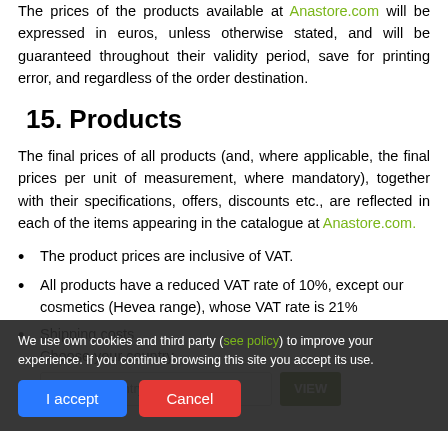The prices of the products available at Anastore.com will be expressed in euros, unless otherwise stated, and will be guaranteed throughout their validity period, save for printing error, and regardless of the order destination.
15. Products
The final prices of all products (and, where applicable, the final prices per unit of measurement, where mandatory), together with their specifications, offers, discounts etc., are reflected in each of the items appearing in the catalogue at Anastore.com.
The product prices are inclusive of VAT.
All products have a reduced VAT rate of 10%, except our cosmetics (Hevea range), whose VAT rate is 21%
Shipping costs: Choose your country
We use own cookies and third party (see policy) to improve your experience. If you continue browsing this site you accept its use.
I accept | Cancel